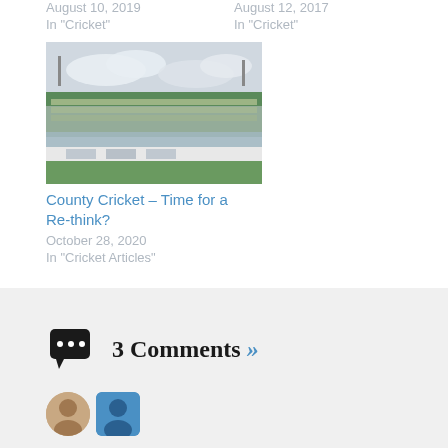August 10, 2019
In "Cricket"
August 12, 2017
In "Cricket"
[Figure (photo): Cricket stadium with green roof stands and crowd, overcast sky]
County Cricket – Time for a Re-think?
October 28, 2020
In "Cricket Articles"
POSTED ON JULY 12, 2020 • POSTED IN CRICKET, INTERNATIONAL CRICKET TAGGED #CENTRAL CONTRACTS, ECB, ENGLAND CRICKET
3 Comments »